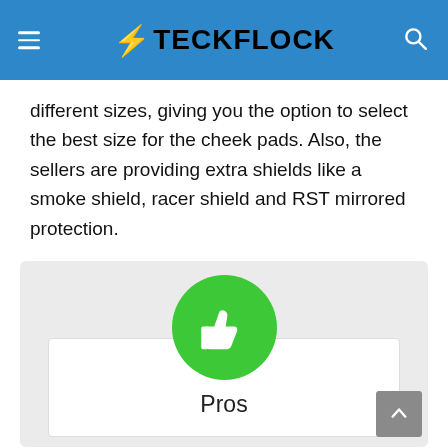⚡ TECKFLOCK
different sizes, giving you the option to select the best size for the cheek pads. Also, the sellers are providing extra shields like a smoke shield, racer shield and RST mirrored protection.
[Figure (infographic): A pros badge graphic: a large green circle with a white thumbs-up icon, positioned above a white card labeled 'Pros' on a light gray background.]